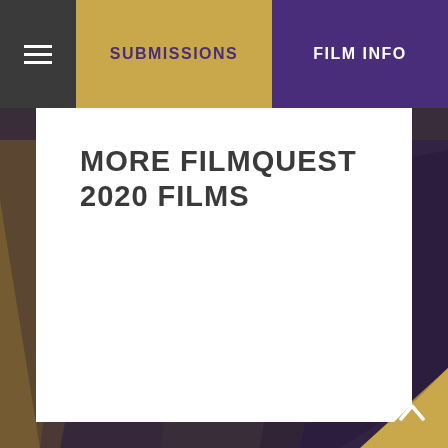SUBMISSIONS   FILM INFO
MORE FILMQUEST 2020 FILMS